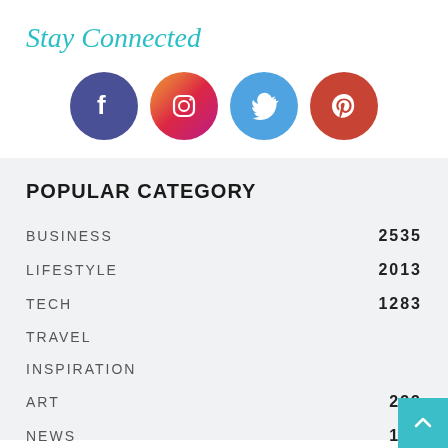Stay Connected
[Figure (illustration): Four circular social media icons: Facebook (dark blue-purple), Instagram (gradient orange-pink-purple), Twitter (light blue), Pinterest (red-orange)]
POPULAR CATEGORY
BUSINESS   2535
LIFESTYLE   2013
TECH   1283
TRAVEL
INSPIRATION
ART   233
NEWS   195